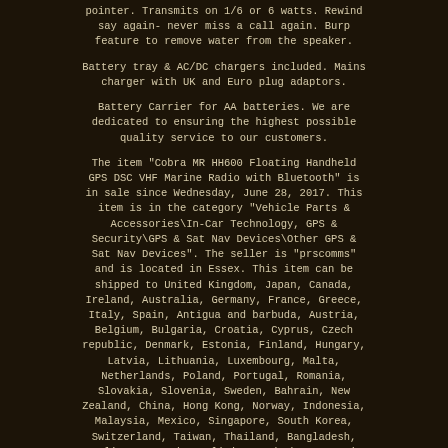pointer. Transmits on 1/6 or 6 watts. Rewind say again- never miss a call again. Burp feature to remove water from the speaker.
Battery tray & AC/DC chargers included. Mains charger with UK and Euro plug adaptors.
Battery Carrier for AA batteries. We are dedicated to ensuring the highest possible quality service to our customers.
The item "Cobra MR HH600 Floating Handheld GPS DSC VHF Marine Radio with Bluetooth" is in sale since Wednesday, June 28, 2017. This item is in the category "Vehicle Parts & Accessories\In-Car Technology, GPS & Security\GPS & Sat Nav Devices\Other GPS & Sat Nav Devices". The seller is "prscomms" and is located in Essex. This item can be shipped to United Kingdom, Japan, Canada, Ireland, Australia, Germany, France, Greece, Italy, Spain, Antigua and barbuda, Austria, Belgium, Bulgaria, Croatia, Cyprus, Czech republic, Denmark, Estonia, Finland, Hungary, Latvia, Lithuania, Luxembourg, Malta, Netherlands, Poland, Portugal, Romania, Slovakia, Slovenia, Sweden, Bahrain, New Zealand, China, Hong Kong, Norway, Indonesia, Malaysia, Mexico, Singapore, South Korea, Switzerland, Taiwan, Thailand, Bangladesh, Belize, Bermuda, Bolivia, Barbados, Brunei